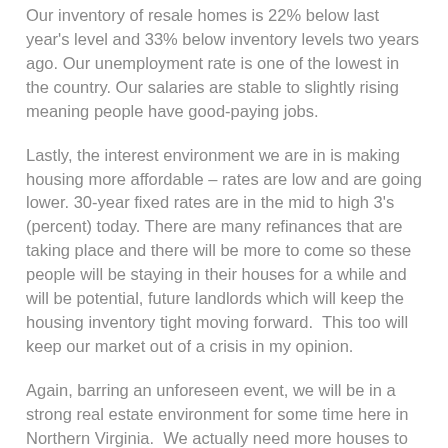Our inventory of resale homes is 22% below last year's level and 33% below inventory levels two years ago. Our unemployment rate is one of the lowest in the country. Our salaries are stable to slightly rising meaning people have good-paying jobs.
Lastly, the interest environment we are in is making housing more affordable – rates are low and are going lower. 30-year fixed rates are in the mid to high 3's (percent) today. There are many refinances that are taking place and there will be more to come so these people will be staying in their houses for a while and will be potential, future landlords which will keep the housing inventory tight moving forward.  This too will keep our market out of a crisis in my opinion.
Again, barring an unforeseen event, we will be in a strong real estate environment for some time here in Northern Virginia.  We actually need more houses to sell